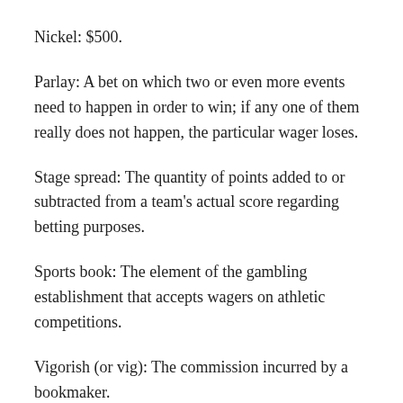Nickel: $500.
Parlay: A bet on which two or even more events need to happen in order to win; if any one of them really does not happen, the particular wager loses.
Stage spread: The quantity of points added to or subtracted from a team’s actual score regarding betting purposes.
Sports book: The element of the gambling establishment that accepts wagers on athletic competitions.
Vigorish (or vig): The commission incurred by a bookmaker.
Quick Sports Wagering Tips & Methods